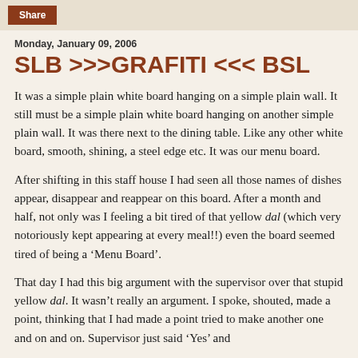Share
Monday, January 09, 2006
SLB >>>GRAFITI <<< BSL
It was a simple plain white board hanging on a simple plain wall. It still must be a simple plain white board hanging on another simple plain wall. It was there next to the dining table. Like any other white board, smooth, shining, a steel edge etc. It was our menu board.
After shifting in this staff house I had seen all those names of dishes appear, disappear and reappear on this board. After a month and half, not only was I feeling a bit tired of that yellow dal (which very notoriously kept appearing at every meal!!) even the board seemed tired of being a ‘Menu Board’.
That day I had this big argument with the supervisor over that stupid yellow dal. It wasn’t really an argument. I spoke, shouted, made a point, thinking that I had made a point tried to make another one and on and on. Supervisor just said ‘Yes’ and